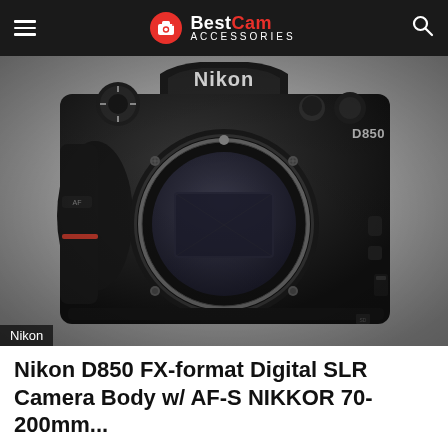BestCam Accessories
[Figure (photo): Front view of a Nikon D850 FX-format Digital SLR Camera Body showing the lens mount, Nikon branding on top, and D850 label on the right side. Camera body is black.]
Nikon
Nikon D850 FX-format Digital SLR Camera Body w/ AF-S NIKKOR 70-200mm...
Best Cam Accessories – February 16, 2022
Price: (as of – Details) 1 of Nikon D850 FX-format Digital SLR Camera